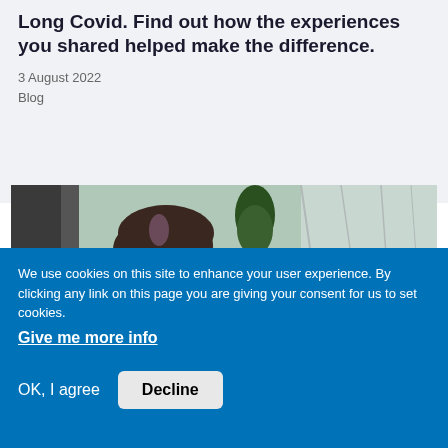Long Covid. Find out how the experiences you shared helped make the difference.
3 August 2022
Blog
[Figure (photo): Photo of a woman with short dark hair smiling outdoors, with green plants and glass building structure in background]
We use cookies on this site to enhance your user experience. By clicking any link on this page you are giving your consent for us to set cookies. Give me more info
OK, I agree   Decline